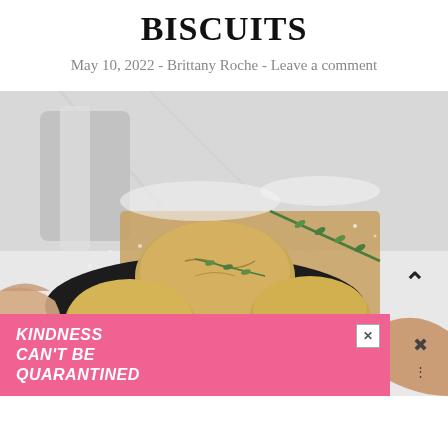BISCUITS
May 10, 2022 - Brittany Roche - Leave a comment
[Figure (photo): Hands holding a dark bowl filled with rustic biscuits, with a sprig of rosemary on top. A wooden cutting board is in the background on a flour-dusted white marble surface.]
[Figure (infographic): Pink advertisement banner reading KINDNESS CAN'T BE QUARANTINED with a close button (X) in the top right corner.]